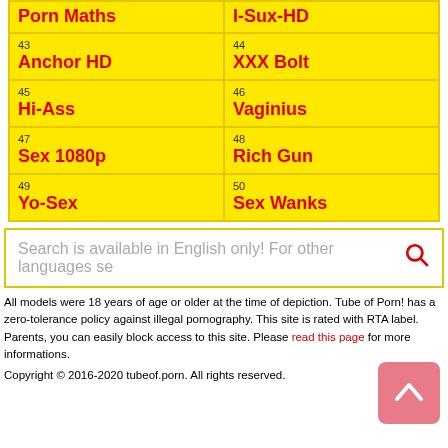| Porn Maths | I-Sux-HD |
| 43 Anchor HD | 44 XXX Bolt |
| 45 Hi-Ass | 46 Vaginius |
| 47 Sex 1080p | 48 Rich Gun |
| 49 Yo-Sex | 50 Sex Wanks |
Search is available in English only! For other languages se
All models were 18 years of age or older at the time of depiction. Tube of Porn! has a zero-tolerance policy against illegal pornography. This site is rated with RTA label. Parents, you can easily block access to this site. Please read this page for more informations.
Copyright © 2016-2020 tubeof.porn. All rights reserved.